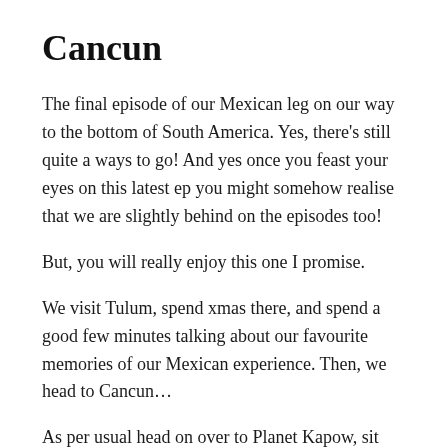Cancun
The final episode of our Mexican leg on our way to the bottom of South America. Yes, there’s still quite a ways to go! And yes once you feast your eyes on this latest ep you might somehow realise that we are slightly behind on the episodes too!
But, you will really enjoy this one I promise.
We visit Tulum, spend xmas there, and spend a good few minutes talking about our favourite memories of our Mexican experience. Then, we head to Cancun…
As per usual head on over to Planet Kapow, sit back, have a read, and take in all that is our final Mexican PK episode.
Cuba, you’re next!